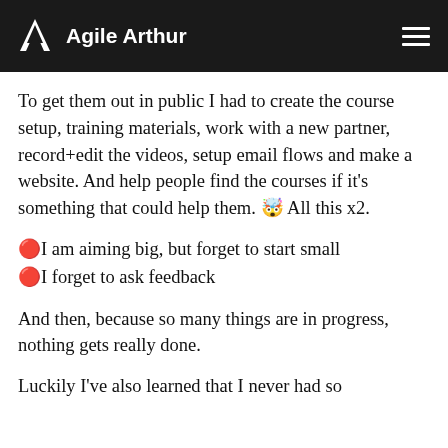Agile Arthur
To get them out in public I had to create the course setup, training materials, work with a new partner, record+edit the videos, setup email flows and make a website. And help people find the courses if it's something that could help them. 🤯 All this x2.
🔴I am aiming big, but forget to start small
🔴I forget to ask feedback
And then, because so many things are in progress, nothing gets really done.
Luckily I've also learned that I never had so